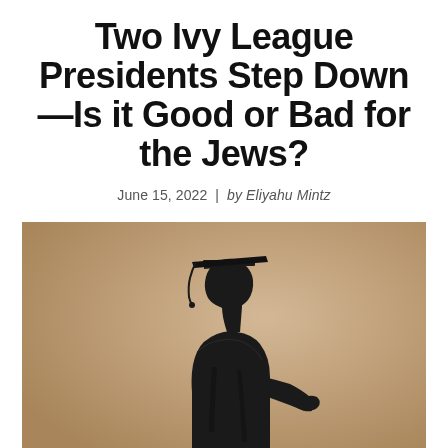Two Ivy League Presidents Step Down—Is it Good or Bad for the Jews?
June 15, 2022 | by Eliyahu Mintz
[Figure (photo): Silhouette of a person wearing a graduation cap and gown, shown in profile against a warm beige/tan background. The figure appears to be gesturing with one hand extended.]